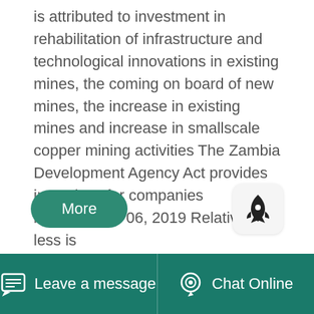is attributed to investment in rehabilitation of infrastructure and technological innovations in existing mines, the coming on board of new mines, the increase in existing mines and increase in smallscale copper mining activities The Zambia Development Agency Act provides incentives for companies investingNov 06, 2019 Relatively less is ...
[Figure (other): A 'More' button (green rounded rectangle) and a rocket icon button (light gray rounded square) side by side]
[Figure (photo): Photo of mining industrial equipment with metal structures and trees in the background]
Leave a message   Chat Online